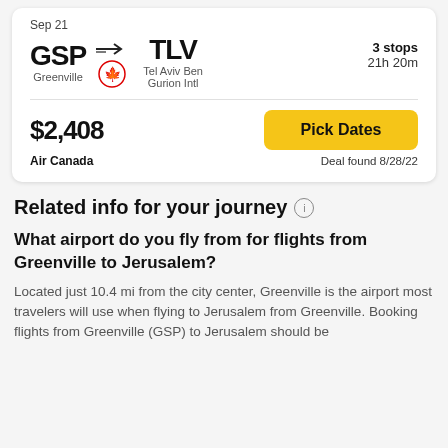Sep 21
GSP → TLV | Greenville | Tel Aviv Ben Gurion Intl | Air Canada | 3 stops | 21h 20m
$2,408
Air Canada
Pick Dates
Deal found 8/28/22
Related info for your journey
What airport do you fly from for flights from Greenville to Jerusalem?
Located just 10.4 mi from the city center, Greenville is the airport most travelers will use when flying to Jerusalem from Greenville. Booking flights from Greenville (GSP) to Jerusalem should be